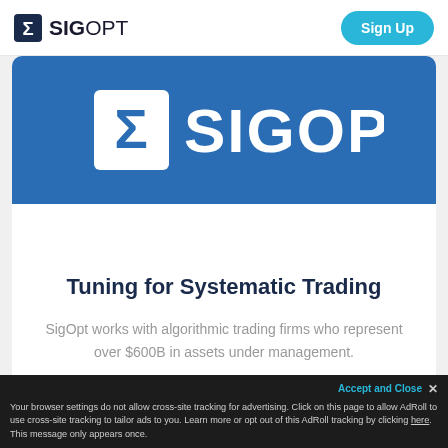SIGOPT | Sign Up
[Figure (logo): SigOpt logo on blue background banner — large Sigma symbol icon and SIGOPT text in white]
Tuning for Systematic Trading
SigOpt works with algorithmic trading firms who represent over $600B in assets under management.
Your browser settings do not allow cross-site tracking for advertising. Click on this page to allow AdRoll to use cross-site tracking to tailor ads to you. Learn more or opt out of this AdRoll tracking by clicking here. This message only appears once.